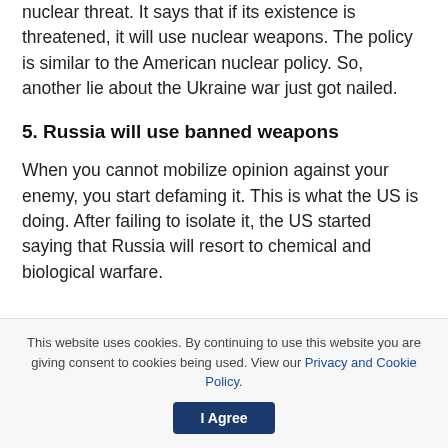nuclear threat. It says that if its existence is threatened, it will use nuclear weapons. The policy is similar to the American nuclear policy. So, another lie about the Ukraine war just got nailed.
5. Russia will use banned weapons
When you cannot mobilize opinion against your enemy, you start defaming it. This is what the US is doing. After failing to isolate it, the US started saying that Russia will resort to chemical and biological warfare.
This website uses cookies. By continuing to use this website you are giving consent to cookies being used. View our Privacy and Cookie Policy. I Agree